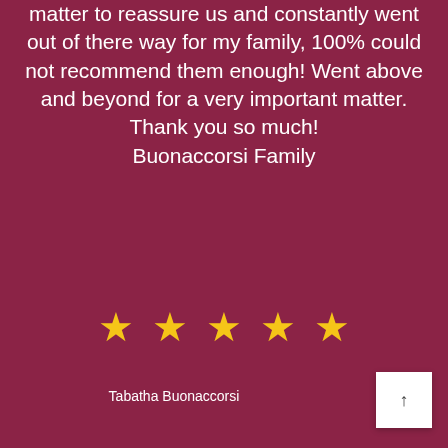matter to reassure us and constantly went out of there way for my family, 100% could not recommend them enough! Went above and beyond for a very important matter. Thank you so much! Buonaccorsi Family
[Figure (infographic): Five gold star rating icons]
Tabatha Buonaccorsi